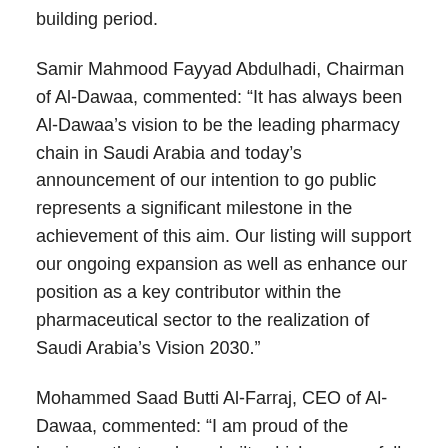building period.
Samir Mahmood Fayyad Abdulhadi, Chairman of Al-Dawaa, commented: “It has always been Al-Dawaa’s vision to be the leading pharmacy chain in Saudi Arabia and today’s announcement of our intention to go public represents a significant milestone in the achievement of this aim. Our listing will support our ongoing expansion as well as enhance our position as a key contributor within the pharmaceutical sector to the realization of Saudi Arabia’s Vision 2030.”
Mohammed Saad Butti Al-Farraj, CEO of Al-Dawaa, commented: “I am proud of the business that we have built, which successfully combines high quality service to our loyal customer base with state-of-the-art infrastructure and technology. It is testament to our success that Al-Dawaa is one of the leading pharmacy chains in Saudi Arabia and today, one of the fastest-growing e-commerce platforms in Saudi Arabia as well. Moreover, we are well positioned to